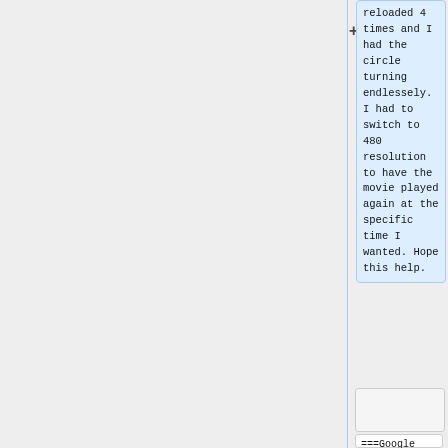reloaded 4 times and I had the circle turning endlessely. I had to switch to 480 resolution to have the movie played again at the specific time I wanted. Hope this help.
===Google Chrome===
===Google Chrome===